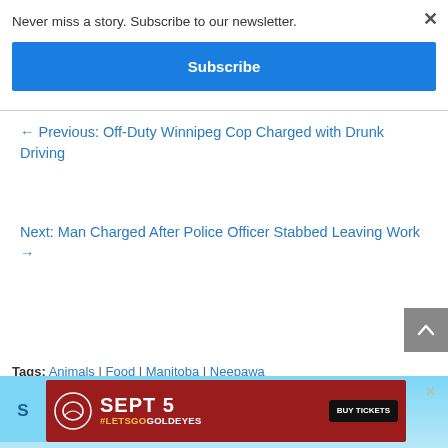Never miss a story. Subscribe to our newsletter.
Subscribe
← Previous: Off-Duty Winnipeg Cop Charged with Drunk Driving
Next: Man Charged After Police Officer Stabbed Leaving Work →
Tags: Animals | Food | Manitoba | Neepawa
[Figure (screenshot): Advertisement banner for Winnipeg Goldeyes Sept 5 game with Buy Tickets button]